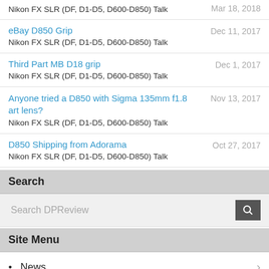Nikon FX SLR (DF, D1-D5, D600-D850) Talk | Mar 18, 2018
eBay D850 Grip | Nikon FX SLR (DF, D1-D5, D600-D850) Talk | Dec 11, 2017
Third Part MB D18 grip | Nikon FX SLR (DF, D1-D5, D600-D850) Talk | Dec 1, 2017
Anyone tried a D850 with Sigma 135mm f1.8 art lens? | Nikon FX SLR (DF, D1-D5, D600-D850) Talk | Nov 13, 2017
D850 Shipping from Adorama | Nikon FX SLR (DF, D1-D5, D600-D850) Talk | Oct 27, 2017
Search
Search DPReview
Site Menu
News
Reviews